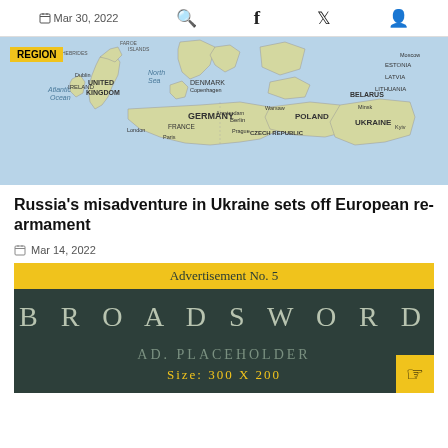Mar 30, 2022
[Figure (map): Map of Europe showing United Kingdom, Ireland, Germany, France, Poland, Ukraine, Belarus, Baltic states, and surrounding regions including Atlantic Ocean and North Sea. Yellow 'REGION' badge overlay on top left.]
Russia's misadventure in Ukraine sets off European re-armament
Mar 14, 2022
[Figure (infographic): Advertisement placeholder. Yellow header bar reading 'Advertisement No. 5'. Dark green/teal background with large text 'BROADSWORD' and subtext 'AD. PLACEHOLDER Size: 300 X 200']